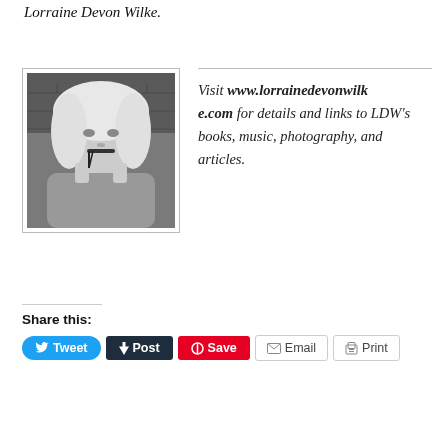Lorraine Devon Wilke.
[Figure (photo): Black and white portrait photo of a blonde woman holding glasses near her mouth, against a brick wall background]
Visit www.lorrainedevonwilke.com for details and links to LDW's books, music, photography, and articles.
Share this:
Tweet  Post  Save  Email  Print